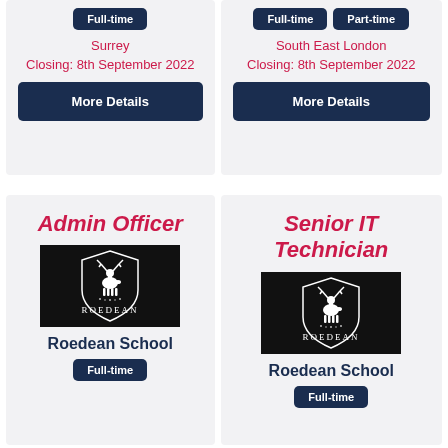Full-time
Surrey
Closing: 8th September 2022
More Details
Full-time | Part-time
South East London
Closing: 8th September 2022
More Details
Admin Officer
[Figure (logo): Roedean School logo - white deer and shield on black background with ROEDEAN text]
Roedean School
Full-time
Senior IT Technician
[Figure (logo): Roedean School logo - white deer and shield on black background with ROEDEAN text]
Roedean School
Full-time